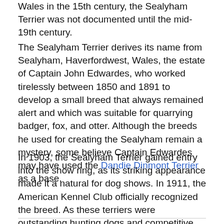Wales in the 15th century, the Sealyham Terrier was not documented until the mid-19th century.
The Sealyham Terrier derives its name from Sealyham, Haverfordwest, Wales, the estate of Captain John Edwardes, who worked tirelessly between 1850 and 1891 to develop a small breed that always remained alert and which was suitable for quarrying badger, fox, and otter. Although the breeds he used for creating the Sealyham remain a mystery, some believe Captain Edwardes may have used the Dandie Dinmont Terrier as a base.
In 1903, the Sealyham Terrier gained entry into the show ring, as its striking appearance made it a natural for dog shows. In 1911, the American Kennel Club officially recognized the breed. As these terriers were outstanding hunting dogs and competitive show dogs, the demand for them increased. Even today, the Sealyham Terrier is considered an excellent dog, both in the field and in the ring.